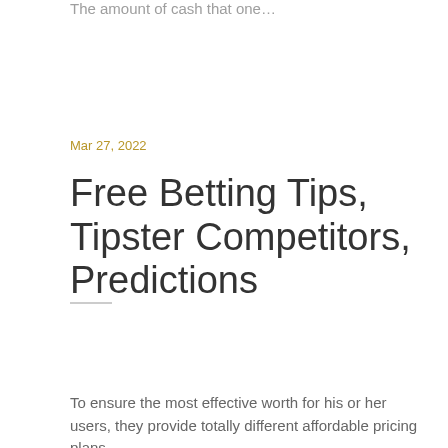The amount of cash that one…
Mar 27, 2022
Free Betting Tips, Tipster Competitors, Predictions
To ensure the most effective worth for his or her users, they provide totally different affordable pricing plans